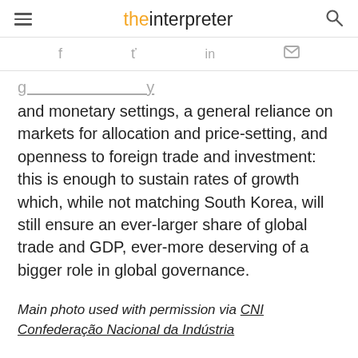the interpreter
and monetary settings, a general reliance on markets for allocation and price-setting, and openness to foreign trade and investment: this is enough to sustain rates of growth which, while not matching South Korea, will still ensure an ever-larger share of global trade and GDP, ever-more deserving of a bigger role in global governance.
Main photo used with permission via CNI Confederação Nacional da Indústria